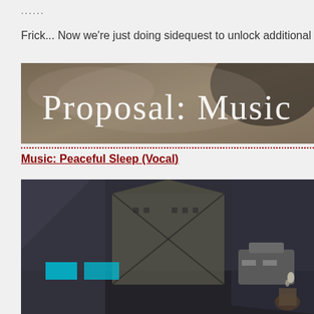......
Frick... Now we're just doing sidequest to unlock additional sideques...
[Figure (illustration): Banner image with 'Proposal: Music' text overlay on a dark fantasy/sci-fi background]
Music: Peaceful Sleep (Vocal)
[Figure (screenshot): Dark sci-fi game screenshot showing an industrial interior with a building structure visible through large windows, futuristic machinery and a character in the lower right]